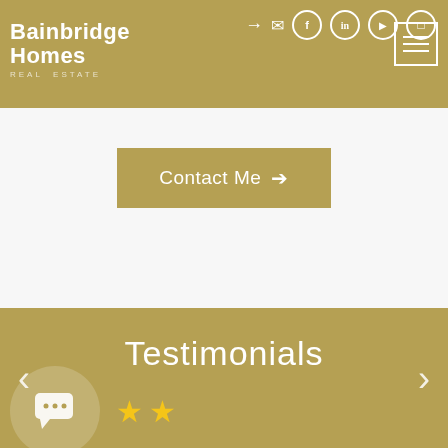Bainbridge Homes — navigation header with logo and social icons
[Figure (screenshot): Contact Me button with gold background and right arrow]
Testimonials
* Working with Togasii was a breeze. As a first time homebuyer, he